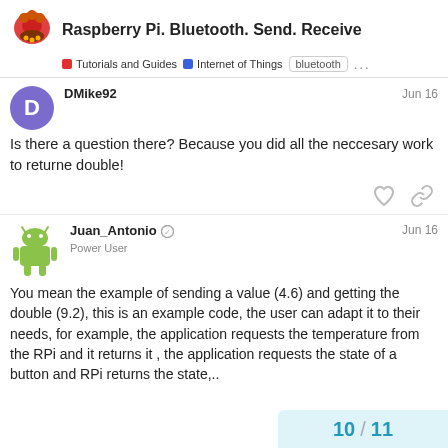Raspberry Pi. Bluetooth. Send. Receive | Tutorials and Guides | Internet of Things | bluetooth ...
DMike92
Jun 16
Is there a question there? Because you did all the neccesary work to returne double!
Juan_Antonio  Power User
Jun 16
You mean the example of sending a value (4.6) and getting the double (9.2), this is an example code, the user can adapt it to their needs, for example, the application requests the temperature from the RPi and it returns it , the application requests the state of a button and RPi returns the state,..
10 / 11